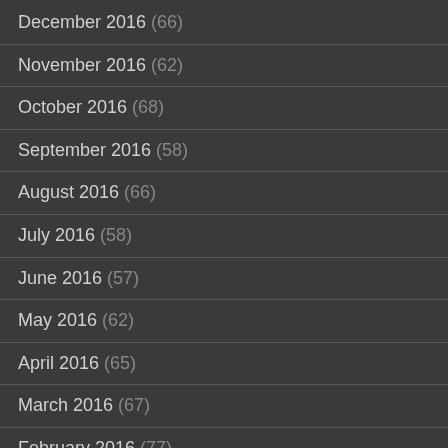December 2016 (66)
November 2016 (62)
October 2016 (68)
September 2016 (58)
August 2016 (66)
July 2016 (58)
June 2016 (57)
May 2016 (62)
April 2016 (65)
March 2016 (67)
February 2016 (77)
January 2016 (68)